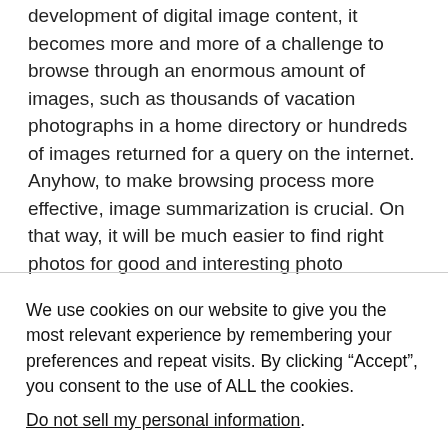computers or mobile phones. Also, with the rapid development of digital image content, it becomes more and more of a challenge to browse through an enormous amount of images, such as thousands of vacation photographs in a home directory or hundreds of images returned for a query on the internet. Anyhow, to make browsing process more effective, image summarization is crucial. On that way, it will be much easier to find right photos for good and interesting photo calendar. The nice photo calendar should have the next properties:
We use cookies on our website to give you the most relevant experience by remembering your preferences and repeat visits. By clicking “Accept”, you consent to the use of ALL the cookies. Do not sell my personal information.